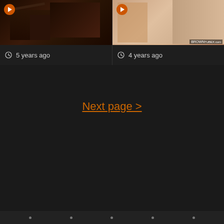[Figure (screenshot): Left video thumbnail with dark/reddish background scene, flag icon overlay, timestamp bar showing '5 years ago']
[Figure (screenshot): Right video thumbnail with skin-tone/light background scene, flag icon overlay, branding text, timestamp bar showing '4 years ago']
Next page >